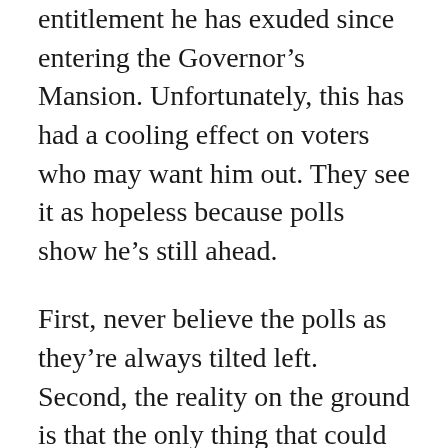entitlement he has exuded since entering the Governor's Mansion. Unfortunately, this has had a cooling effect on voters who may want him out. They see it as hopeless because polls show he's still ahead.
First, never believe the polls as they're always tilted left. Second, the reality on the ground is that the only thing that could prevent a Newsom recall is if voters think it's futile. It is not futile. The groundswell of support for his removal has been profound even if mainstream media is ignoring it. Even Newsom's supporters are